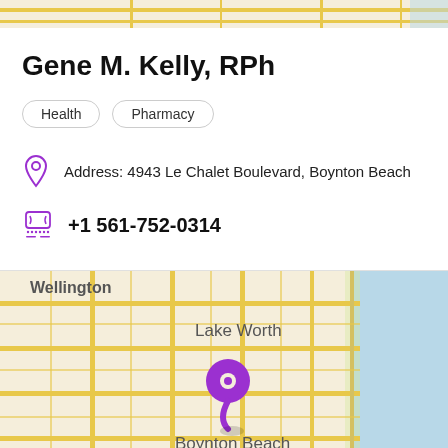[Figure (map): Top strip of a street map showing roads in beige and yellow]
Gene M. Kelly, RPh
Health
Pharmacy
Address: 4943 Le Chalet Boulevard, Boynton Beach
+1 561-752-0314
[Figure (map): Street map showing Wellington and Lake Worth area with a purple location pin over Boynton Beach, Florida. Ocean shown in blue on the right side.]